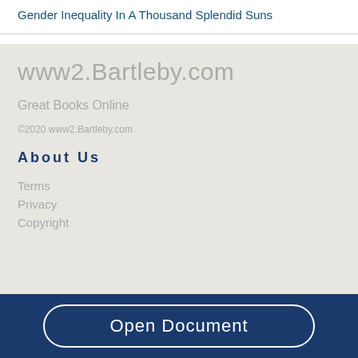Gender Inequality In A Thousand Splendid Suns
www2.Bartleby.com
Great Books Online
©2020 www2.Bartleby.com
About Us
Terms
Privacy
Copyright
Open Document